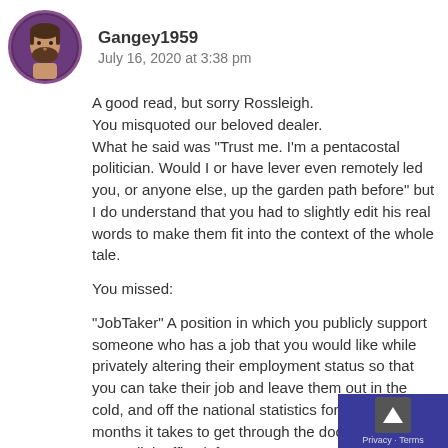[Figure (illustration): Circular avatar photo of a bearded man with dark hair against a dark purple/maroon background border]
Gangey1959   July 16, 2020 at 3:38 pm
A good read, but sorry Rossleigh.
You misquoted our beloved dealer.
What he said was “Trust me. I’m a pentacostal politician. Would I or have lever even remotely led you, or anyone else, up the garden path before” but I do understand that you had to slightly edit his real words to make them fit into the context of the whole tale.
You missed:
“JobTaker” A position in which you publicly support someone who has a job that you would like while privately altering their employment status so that you can take their job and leave them out in the cold, and off the national statistics for at least the 6 months it takes to get through the doors of the one Centerlink office left open.
“JobDuplicater” A position created for someone who already has an overly well paid job, but needs to be seen to be doing something in the “National Interest” and who has the necessary